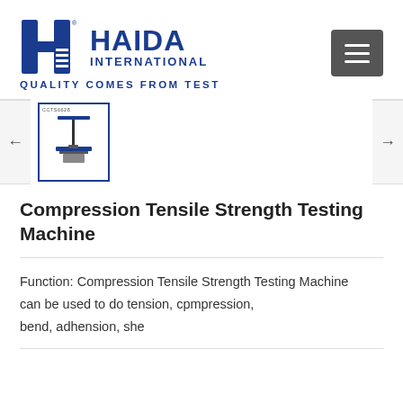[Figure (logo): Haida International logo with stylized H icon and text HAIDA INTERNATIONAL, tagline QUALITY COMES FROM TEST in blue, with a hamburger menu button in grey]
[Figure (photo): Carousel with one thumbnail showing a Compression Tensile Strength Testing Machine product image, left and right navigation arrows]
Compression Tensile Strength Testing Machine
Function: Compression Tensile Strength Testing Machine can be used to do tension, cpmpression, bend, adhension, she